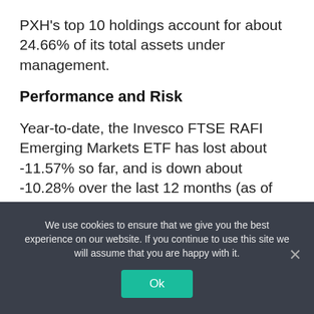PXH's top 10 holdings account for about 24.66% of its total assets under management.
Performance and Risk
Year-to-date, the Invesco FTSE RAFI Emerging Markets ETF has lost about -11.57% so far, and is down about -10.28% over the last 12 months (as of 04/26/2022). PXH has traded between $ 19.31 and $ 24.30 in this past 52-week period.
We use cookies to ensure that we give you the best experience on our website. If you continue to use this site we will assume that you are happy with it.